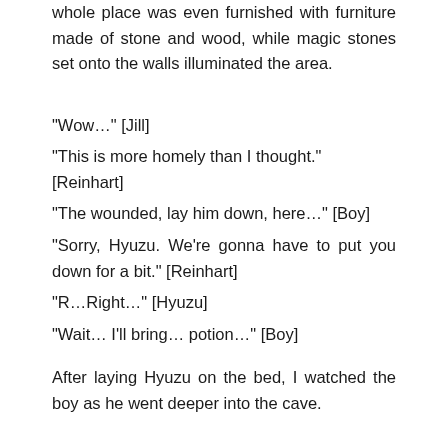whole place was even furnished with furniture made of stone and wood, while magic stones set onto the walls illuminated the area.
“Wow…” [Jill]
“This is more homely than I thought.” [Reinhart]
“The wounded, lay him down, here…” [Boy]
“Sorry, Hyuzu. We’re gonna have to put you down for a bit.” [Reinhart]
“R…Right…” [Hyuzu]
“Wait… I’ll bring… potion…” [Boy]
After laying Hyuzu on the bed, I watched the boy as he went deeper into the cave.
“Well, in any case, with this we can finally relax a bit.” [Reinhart]
“The place is a lot better than expected. Hyuzu should